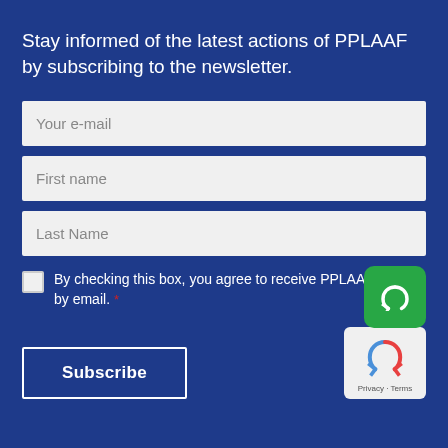Stay informed of the latest actions of PPLAAF by subscribing to the newsletter.
Your e-mail
First name
Last Name
By checking this box, you agree to receive PPLAAF news by email. *
Subscribe